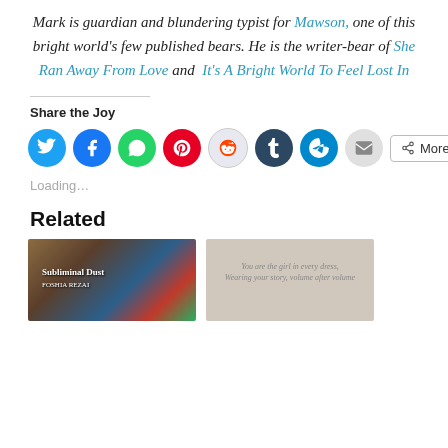Mark is guardian and blundering typist for Mawson, one of this bright world's few published bears. He is the writer-bear of She Ran Away From Love and It's A Bright World To Feel Lost In
Share the Joy
[Figure (other): Row of social media share buttons: Twitter (blue), Facebook (blue), WhatsApp (green), Pinterest (red), Reddit (light gray), Tumblr (dark navy), Telegram (blue), Email (gray), and a More button]
Loading...
Related
[Figure (photo): Book cover image showing 'Subliminal Dust' with colorful books in background]
[Figure (photo): Beige/tan image with italic text reading 'You are the girl in every dress, wearing your story, volume after volume']